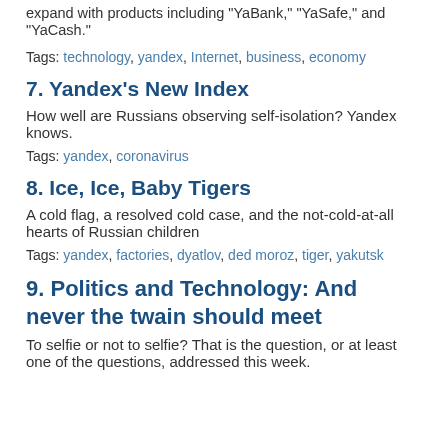expand with products including "YaBank," "YaSafe," and "YaCash."
Tags: technology, yandex, Internet, business, economy
7. Yandex's New Index
How well are Russians observing self-isolation? Yandex knows.
Tags: yandex, coronavirus
8. Ice, Ice, Baby Tigers
A cold flag, a resolved cold case, and the not-cold-at-all hearts of Russian children
Tags: yandex, factories, dyatlov, ded moroz, tiger, yakutsk
9. Politics and Technology: And never the twain should meet
To selfie or not to selfie? That is the question, or at least one of the questions, addressed this week.